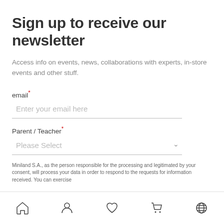Sign up to receive our newsletter
Access info on events, news, collaborations with experts, in-store events and other stuff.
email*
Enter your email here
Parent / Teacher*
Please Select
Miniland S.A., as the person responsible for the processing and legitimated by your consent, will process your data in order to respond to the requests for information received. You can exercise
Navigation bar with home, user, heart, cart, and globe icons